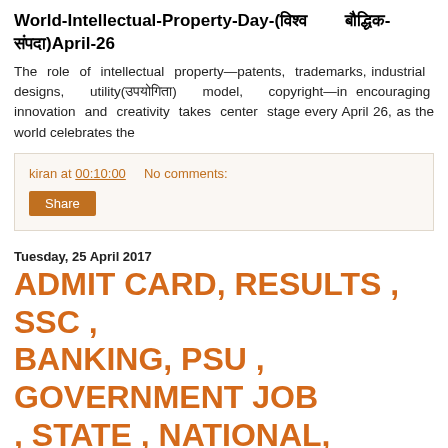World-Intellectual-Property-Day-(विश्व बौद्धिक-संपदा)April-26
The role of intellectual property—patents, trademarks, industrial designs, utility(उपयोगिता) model, copyright—in encouraging innovation and creativity takes center stage every April 26, as the world celebrates the
kiran at 00:10:00   No comments:
Share
Tuesday, 25 April 2017
ADMIT CARD, RESULTS , SSC , BANKING, PSU , GOVERNMENT JOB , STATE , NATIONAL, STATE, PSU, BANKING, SSC, STATE,COMMISSION, EXAM -26-04-2017-,ENGLISH